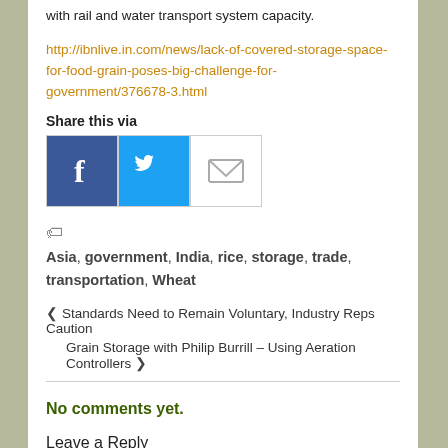with rail and water transport system capacity.
http://ibnlive.in.com/news/lack-of-covered-storage-space-for-food-grain-poses-big-challenge-for-government/376678-3.html
Share this via
[Figure (other): Facebook, Twitter, and Email share icons]
Asia, government, India, rice, storage, trade, transportation, Wheat
‹ Standards Need to Remain Voluntary, Industry Reps Caution
Grain Storage with Philip Burrill – Using Aeration Controllers ›
No comments yet.
Leave a Reply